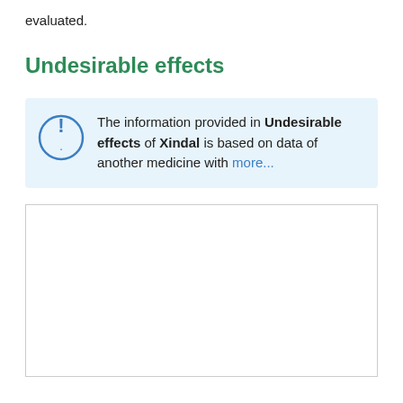evaluated.
Undesirable effects
The information provided in Undesirable effects of Xindal is based on data of another medicine with more...
[Figure (other): Empty white content box with border]